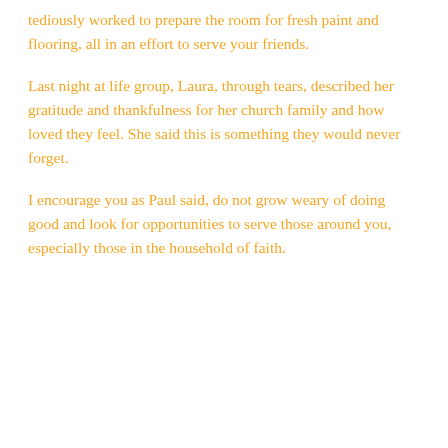tediously worked to prepare the room for fresh paint and flooring, all in an effort to serve your friends.
Last night at life group, Laura, through tears, described her gratitude and thankfulness for her church family and how loved they feel. She said this is something they would never forget.
I encourage you as Paul said, do not grow weary of doing good and look for opportunities to serve those around you, especially those in the household of faith.